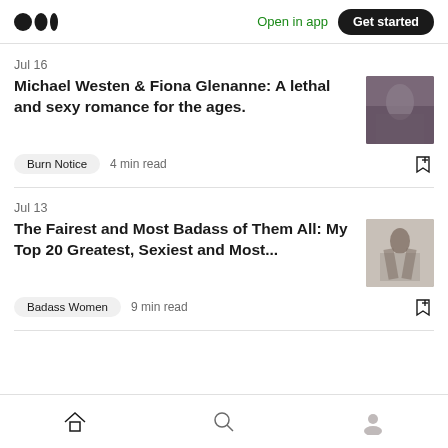Open in app  Get started
Jul 16
Michael Westen & Fiona Glenanne: A lethal and sexy romance for the ages.
Burn Notice  4 min read
Jul 13
The Fairest and Most Badass of Them All: My Top 20 Greatest, Sexiest and Most...
Badass Women  9 min read